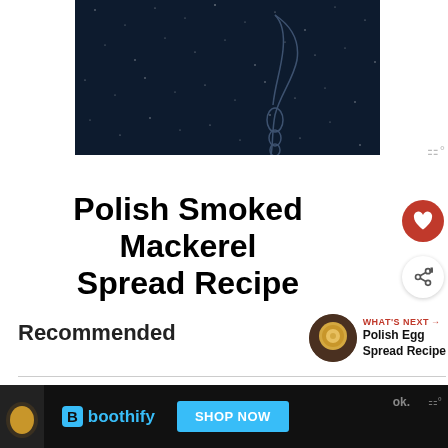[Figure (photo): Dark navy starfield background with a faint outline illustration of a knife/tool on the right side]
Polish Smoked Mackerel Spread Recipe
Recommended
WHAT'S NEXT → Polish Egg Spread Recipe
[Figure (photo): Advertisement banner: Boothify logo with SHOP NOW button on dark background]